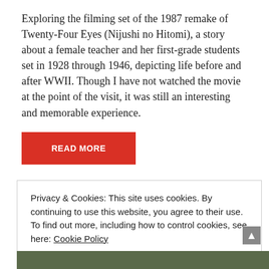Exploring the filming set of the 1987 remake of Twenty-Four Eyes (Nijushi no Hitomi), a story about a female teacher and her first-grade students set in 1928 through 1946, depicting life before and after WWII. Though I have not watched the movie at the point of the visit, it was still an interesting and memorable experience.
READ MORE
Privacy & Cookies: This site uses cookies. By continuing to use this website, you agree to their use.
To find out more, including how to control cookies, see here: Cookie Policy
CLOSE AND ACCEPT
[Figure (photo): Bottom strip showing a photo of a landscape with trees]